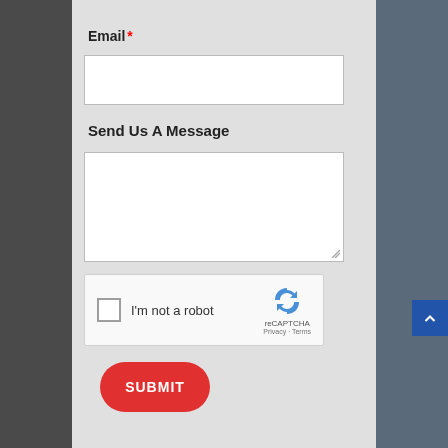Email *
Send Us A Message
I'm not a robot
reCAPTCHA
Privacy · Terms
SUBMIT